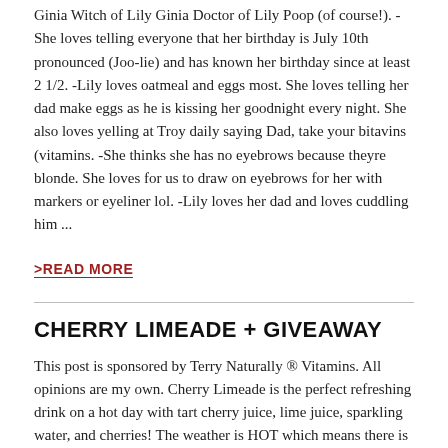Ginia Witch of Lily Ginia Doctor of Lily Poop (of course!).  -She loves telling everyone that her birthday is July 10th pronounced (Joo-lie) and has known her birthday since at least 2 1/2.  -Lily loves oatmeal and eggs most. She loves telling her dad make eggs as he is kissing her goodnight every night. She also loves yelling at Troy daily saying Dad, take your bitavins (vitamins. -She thinks she has no eyebrows because theyre blonde. She loves for us to draw on eyebrows for her with markers or eyeliner lol.  -Lily loves her dad and loves cuddling him ...
>READ MORE
CHERRY LIMEADE + GIVEAWAY
This post is sponsored by Terry Naturally ® Vitamins. All opinions are my own. Cherry Limeade is the perfect refreshing drink on a hot day with tart cherry juice, lime juice, sparkling water, and cherries! The weather is HOT which means there is nothing like an ice cold drink to cool you down. I love making fun mocktail recipes for my kids